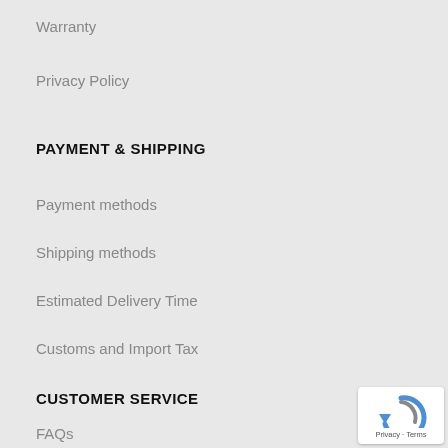Warranty
Privacy Policy
PAYMENT & SHIPPING
Payment methods
Shipping methods
Estimated Delivery Time
Customs and Import Tax
CUSTOMER SERVICE
FAQs
Track your Order
[Figure (logo): reCAPTCHA badge with Privacy and Terms links]